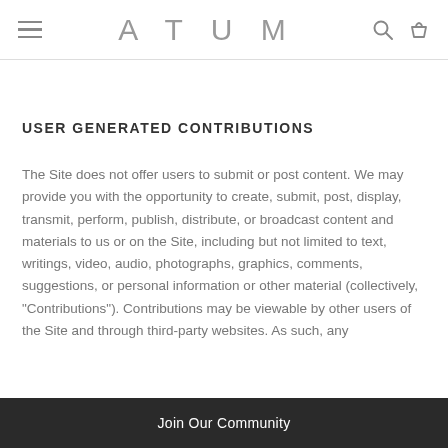ATUM
USER GENERATED CONTRIBUTIONS
The Site does not offer users to submit or post content. We may provide you with the opportunity to create, submit, post, display, transmit, perform, publish, distribute, or broadcast content and materials to us or on the Site, including but not limited to text, writings, video, audio, photographs, graphics, comments, suggestions, or personal information or other material (collectively, "Contributions"). Contributions may be viewable by other users of the Site and through third-party websites. As such, any
Join Our Community